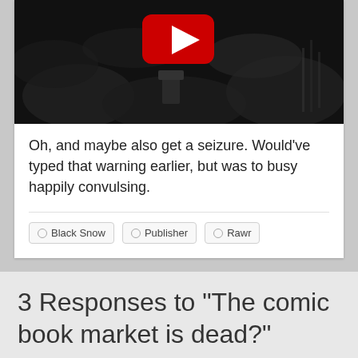[Figure (screenshot): YouTube video thumbnail showing a dark/black and white image with a red YouTube play button icon in the upper center area]
Oh, and maybe also get a seizure. Would've typed that warning earlier, but was to busy happily convulsing.
Black Snow  Publisher  Rawr
3 Responses to "The comic book market is dead?"